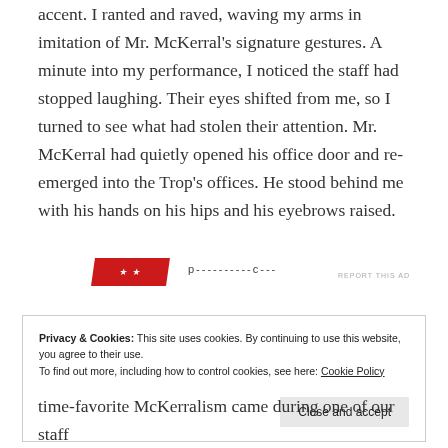accent. I ranted and raved, waving my arms in imitation of Mr. McKerral’s signature gestures. A minute into my performance, I noticed the staff had stopped laughing. Their eyes shifted from me, so I turned to see what had stolen their attention. Mr. McKerral had quietly opened his office door and re-emerged into the Trop’s offices. He stood behind me with his hands on his hips and his eyebrows raised.
[Figure (other): Advertisement banner with red skewed element and dashed text]
REPORT THIS AD
Privacy & Cookies: This site uses cookies. By continuing to use this website, you agree to their use.
To find out more, including how to control cookies, see here: Cookie Policy
Close and accept
time-favorite McKerralism came during one of our staff